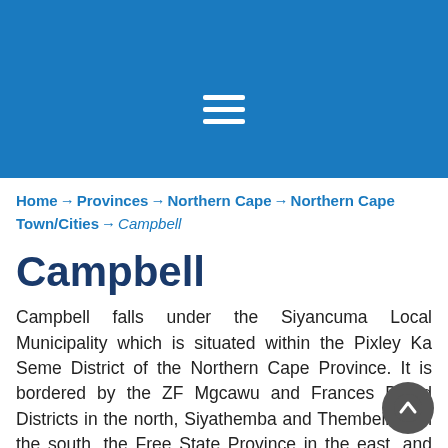[Figure (screenshot): Blue header bar with white hamburger menu icon (three horizontal lines)]
Home → Provinces → Northern Cape → Northern Cape Town/Cities → Campbell
Campbell
Campbell falls under the Siyancuma Local Municipality which is situated within the Pixley Ka Seme District of the Northern Cape Province. It is bordered by the ZF Mgcawu and Frances Baard Districts in the north, Siyathemba and Thembelihle in the south, the Free State Province in the east, and the ZF Mgcawu Di... in the west. It is one of the eight municipalities that make up the district comprising for 16% of its...